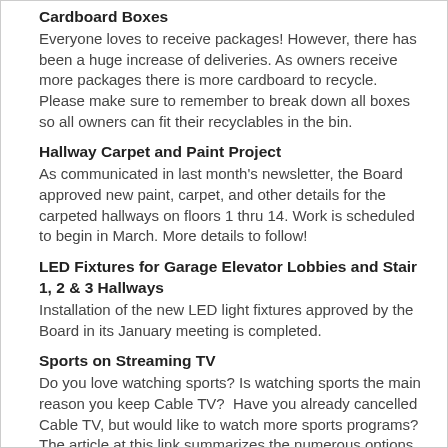Cardboard Boxes
Everyone loves to receive packages! However, there has been a huge increase of deliveries. As owners receive more packages there is more cardboard to recycle. Please make sure to remember to break down all boxes so all owners can fit their recyclables in the bin.
Hallway Carpet and Paint Project
As communicated in last month's newsletter, the Board approved new paint, carpet, and other details for the carpeted hallways on floors 1 thru 14. Work is scheduled to begin in March. More details to follow!
LED Fixtures for Garage Elevator Lobbies and Stair 1, 2 & 3 Hallways
Installation of the new LED light fixtures approved by the Board in its January meeting is completed.
Sports on Streaming TV
Do you love watching sports? Is watching sports the main reason you keep Cable TV?  Have you already cancelled Cable TV, but would like to watch more sports programs? The article at this link summarizes the numerous options for watching sports without cable TV: link.